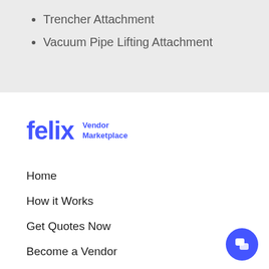Trencher Attachment
Vacuum Pipe Lifting Attachment
[Figure (logo): Felix Vendor Marketplace logo in blue]
Home
How it Works
Get Quotes Now
Become a Vendor
Browse Services
About Us
Contact Us